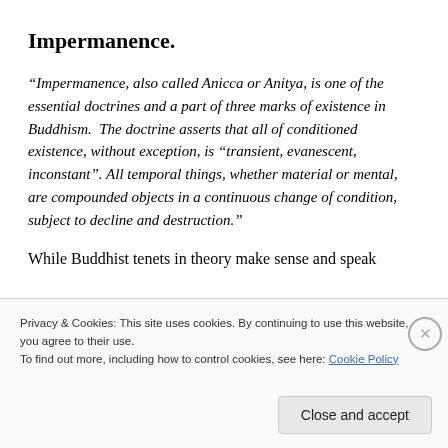Impermanence.
“Impermanence, also called Anicca or Anitya, is one of the essential doctrines and a part of three marks of existence in Buddhism.  The doctrine asserts that all of conditioned existence, without exception, is “transient, evanescent, inconstant”. All temporal things, whether material or mental, are compounded objects in a continuous change of condition, subject to decline and destruction.”
While Buddhist tenets in theory make sense and speak
Privacy & Cookies: This site uses cookies. By continuing to use this website, you agree to their use.
To find out more, including how to control cookies, see here: Cookie Policy
Close and accept